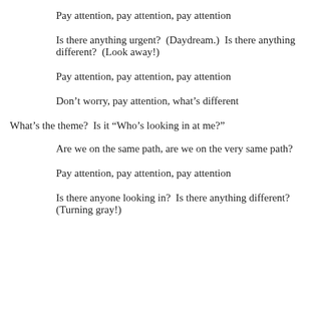Pay attention, pay attention, pay attention
Is there anything urgent?  (Daydream.)  Is there anything different?  (Look away!)
Pay attention, pay attention, pay attention
Don’t worry, pay attention, what’s different
What’s the theme?  Is it “Who’s looking in at me?”
Are we on the same path, are we on the very same path?
Pay attention, pay attention, pay attention
Is there anyone looking in?  Is there anything different?  (Turning gray!)